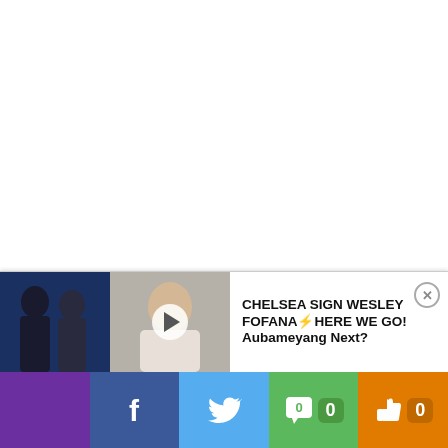Once you've selected your game and bet £1 to play you will join the Picklive Live Game Room with the rest of your opponents. Then as the game is taking place you will accumulate points in real-time, with 20 points for a goal, 10 points for an assist, 1 point for a pass and so on.
[Figure (screenshot): Notification bar showing a football video thumbnail with two players, a presenter, and text 'CHELSEA SIGN WESLEY FOFANA HERE WE GO! Aubameyang Next?' with a close button]
[Figure (infographic): Social sharing bar with purple, Facebook (f), Twitter bird, comment (chat bubble with 0), like (thumbs up with 0) buttons in various colors]